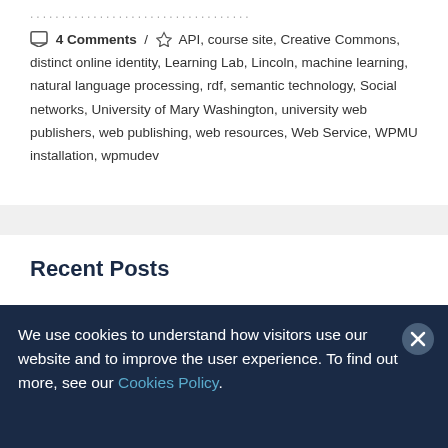…………………………………
4 Comments / API, course site, Creative Commons, distinct online identity, Learning Lab, Lincoln, machine learning, natural language processing, rdf, semantic technology, Social networks, University of Mary Washington, university web publishers, web publishing, web resources, Web Service, WPMU installation, wpmudev
Recent Posts
We use cookies to understand how visitors use our website and to improve the user experience. To find out more, see our Cookies Policy.